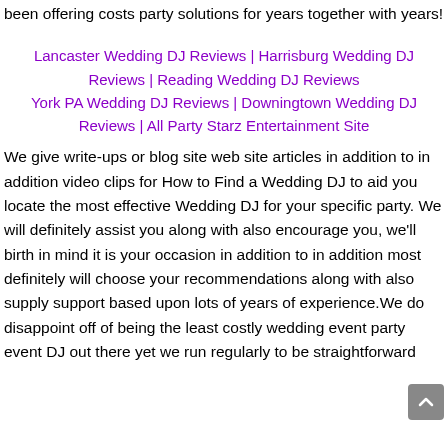been offering costs party solutions for years together with years!
Lancaster Wedding DJ Reviews | Harrisburg Wedding DJ Reviews | Reading Wedding DJ Reviews
York PA Wedding DJ Reviews | Downingtown Wedding DJ Reviews | All Party Starz Entertainment Site
We give write-ups or blog site web site articles in addition to in addition video clips for How to Find a Wedding DJ to aid you locate the most effective Wedding DJ for your specific party. We will definitely assist you along with also encourage you, we'll birth in mind it is your occasion in addition to in addition most definitely will choose your recommendations along with also supply support based upon lots of years of experience.We do disappoint off of being the least costly wedding event party event DJ out there yet we run regularly to be straightforward